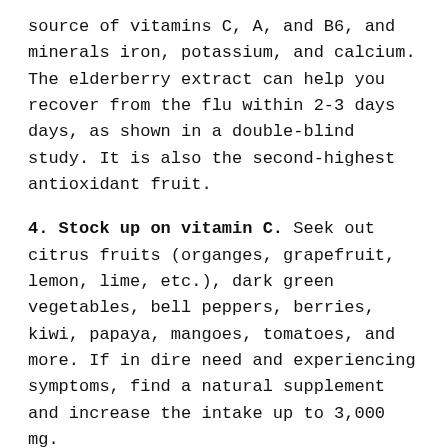source of vitamins C, A, and B6, and minerals iron, potassium, and calcium. The elderberry extract can help you recover from the flu within 2-3 days days, as shown in a double-blind study. It is also the second-highest antioxidant fruit.
4. Stock up on vitamin C. Seek out citrus fruits (organges, grapefruit, lemon, lime, etc.), dark green vegetables, bell peppers, berries, kiwi, papaya, mangoes, tomatoes, and more. If in dire need and experiencing symptoms, find a natural supplement and increase the intake up to 3,000 mg.
5. Get your vitamin D. Vitamin D helps facilitate the anti-inflammatory process